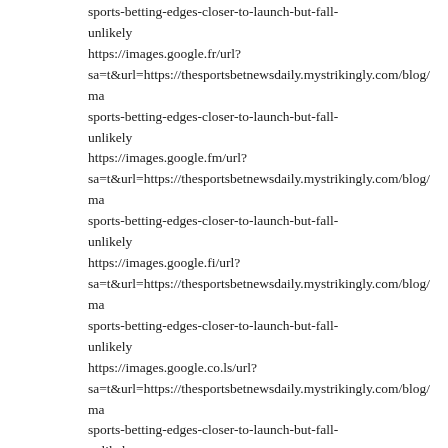sports-betting-edges-closer-to-launch-but-fall-unlikely
https://images.google.fr/url?sa=t&url=https://thesportsbetnewsdaily.mystrikingly.com/blog/ma sports-betting-edges-closer-to-launch-but-fall-unlikely
https://images.google.fm/url?sa=t&url=https://thesportsbetnewsdaily.mystrikingly.com/blog/ma sports-betting-edges-closer-to-launch-but-fall-unlikely
https://images.google.fi/url?sa=t&url=https://thesportsbetnewsdaily.mystrikingly.com/blog/ma sports-betting-edges-closer-to-launch-but-fall-unlikely
https://images.google.co.ls/url?sa=t&url=https://thesportsbetnewsdaily.mystrikingly.com/blog/ma sports-betting-edges-closer-to-launch-but-fall-unlikely
https://images.google.co.kr/url?sa=t&url=https://thesportsbetnewsdaily.mystrikingly.com/blog/ma sports-betting-edges-closer-to-launch-but-fall-